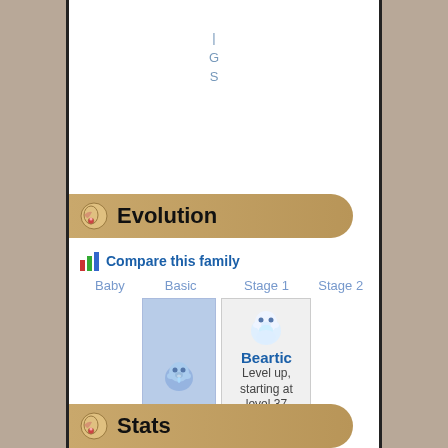| G S
Evolution
Compare this family
| Baby | Basic | Stage 1 | Stage 2 |
| --- | --- | --- | --- |
|  | Cubchoo | Beartic
Level up, starting at level 37 |  |
Stats